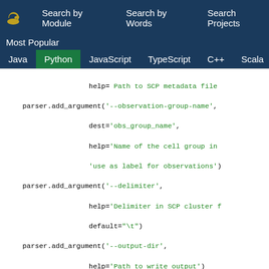Search by Module   Search by Words   Search Projects
Most Popular
Java  Python  JavaScript  TypeScript  C++  Scala
help= Path to SCP metadata file
    parser.add_argument('--observation-group-name',
                    dest='obs_group_name',
                    help='Name of the cell group in
                    'use as label for observations')
    parser.add_argument('--delimiter',
                    help='Delimiter in SCP cluster f
                    default="\t")
    parser.add_argument('--output-dir',
                    help='Path to write output')
    return parser
Example #6
Source Project: JetPack   Author: dsp-jetpack   File: tempest_results_p
[Figure (photo): Thumbnail image with hexagonal/cube pattern in grey]